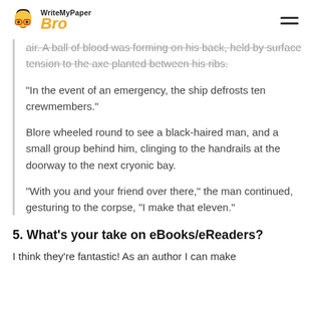WriteMyPaper Bro
air. A ball of blood was forming on his back, held by surface tension to the axe planted between his ribs.
“In the event of an emergency, the ship defrosts ten crewmembers.”
Blore wheeled round to see a black-haired man, and a small group behind him, clinging to the handrails at the doorway to the next cryonic bay.
“With you and your friend over there,” the man continued, gesturing to the corpse, “I make that eleven.”
5. What’s your take on eBooks/eReaders?
I think they’re fantastic! As an author I can make